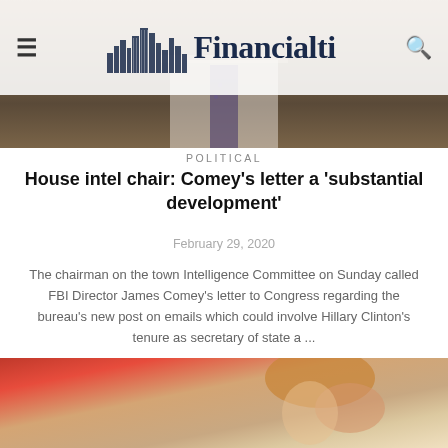Financialti
[Figure (photo): Photo of a man in a suit with tie, blurred background, partially visible at top of page]
POLITICAL
House intel chair: Comey's letter a 'substantial development'
February 29, 2020
The chairman on the town Intelligence Committee on Sunday called FBI Director James Comey's letter to Congress regarding the bureau's new post on emails which could involve Hillary Clinton's tenure as secretary of state a ...
[Figure (photo): Photo of a woman with long blonde/auburn hair, blurred red background, cropped at bottom of page]